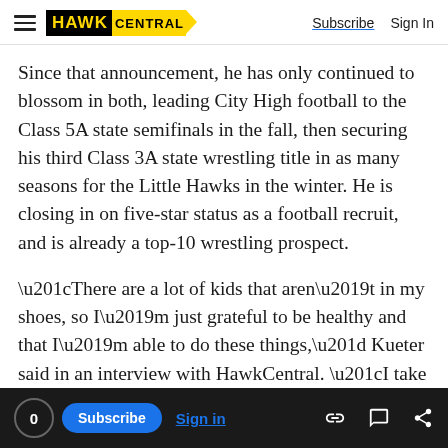HAWK CENTRAL | Subscribe  Sign In
Since that announcement, he has only continued to blossom in both, leading City High football to the Class 5A state semifinals in the fall, then securing his third Class 3A state wrestling title in as many seasons for the Little Hawks in the winter. He is closing in on five-star status as a football recruit, and is already a top-10 wrestling prospect.
“There are a lot of kids that aren’t in my shoes, so I’m just grateful to be healthy and that I’m able to do these things,” Kueter said in an interview with HawkCentral. “I take it day by day. I have a lot of
0  Subscribe  Sign in